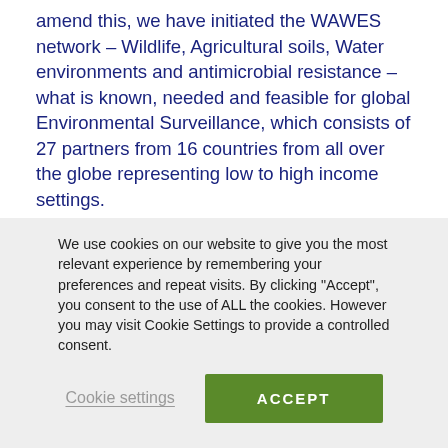amend this, we have initiated the WAWES network – Wildlife, Agricultural soils, Water environments and antimicrobial resistance – what is known, needed and feasible for global Environmental Surveillance, which consists of 27 partners from 16 countries from all over the globe representing low to high income settings.
The WAWES participants have a shared objective of finding a way to perform global comparative surveillance of AMR in the environment and wildlife, which is furthermore applicable in the majority of countries irrespective of economic resources. Due to the complexity
We use cookies on our website to give you the most relevant experience by remembering your preferences and repeat visits. By clicking "Accept", you consent to the use of ALL the cookies. However you may visit Cookie Settings to provide a controlled consent.